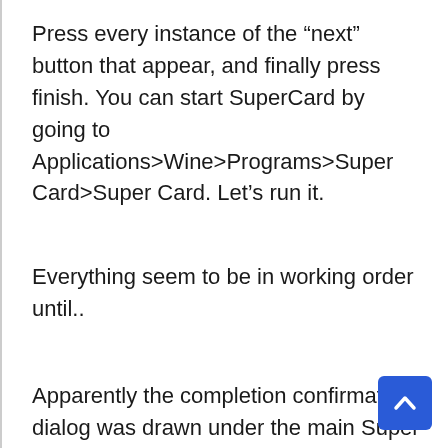Press every instance of the “next” button that appear, and finally press finish. You can start SuperCard by going to Applications>Wine>Programs>Super Card>Super Card. Let’s run it.
Everything seem to be in working order until..
Apparently the completion confirmation dialog was drawn under the main Super Card software windows, and I don’t seems to be able to toggle to it. More over, the SuperCard software did not appear on my Windows List. Even worst I can’t kill the session, and even the